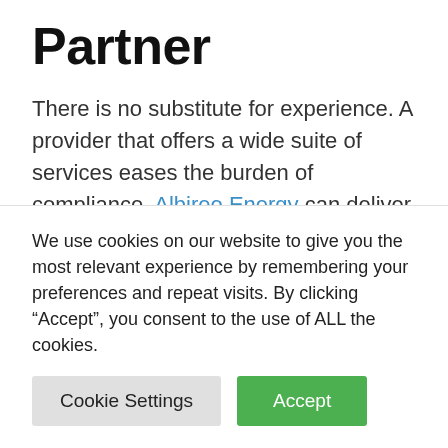Partner
There is no substitute for experience. A provider that offers a wide suite of services eases the burden of compliance. Albireo Energy can deliver all the elements listed here and more. Our expertise and sterling reputation can lift the weight right off your shoulders.
The Pharma industry is heavily regulated. GMP compliance regulations are in place to enhance
We use cookies on our website to give you the most relevant experience by remembering your preferences and repeat visits. By clicking “Accept”, you consent to the use of ALL the cookies.